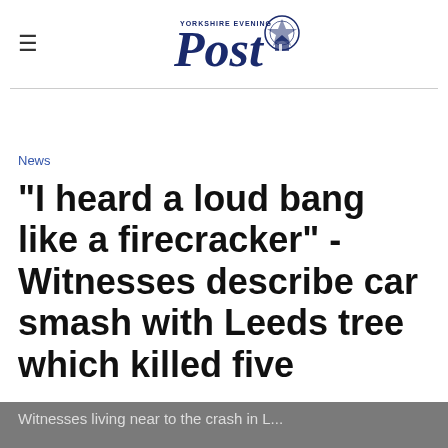Yorkshire Evening Post
News
"I heard a loud bang like a firecracker" - Witnesses describe car smash with Leeds tree which killed five
Witnesses living near to the crash in L...